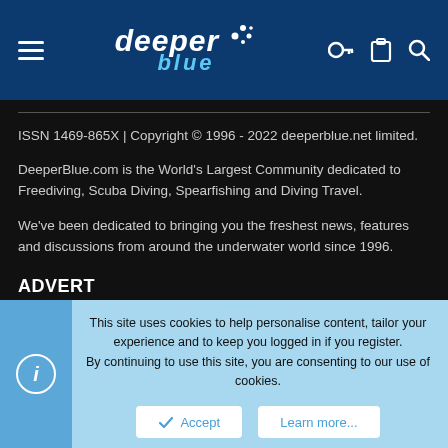DeeperBlue logo header with hamburger menu and icons
ISSN 1469-865X | Copyright © 1996 - 2022 deeperblue.net limited.
DeeperBlue.com is the World's Largest Community dedicated to Freediving, Scuba Diving, Spearfishing and Diving Travel.
We've been dedicated to bringing you the freshest news, features and discussions from around the underwater world since 1996.
ADVERT
This site uses cookies to help personalise content, tailor your experience and to keep you logged in if you register. By continuing to use this site, you are consenting to our use of cookies.